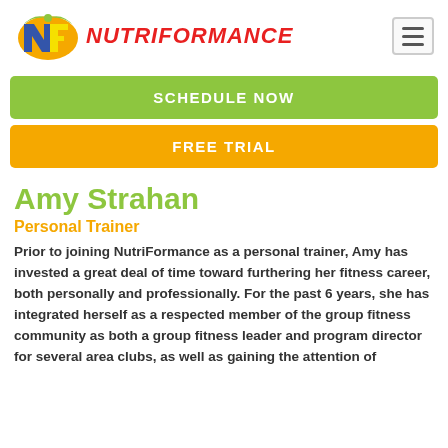[Figure (logo): NutriFormance logo with stylized NF letters and brand name in red italic text]
SCHEDULE NOW
FREE TRIAL
Amy Strahan
Personal Trainer
Prior to joining NutriFormance as a personal trainer, Amy has invested a great deal of time toward furthering her fitness career, both personally and professionally. For the past 6 years, she has integrated herself as a respected member of the group fitness community as both a group fitness leader and program director for several area clubs, as well as gaining the attention of